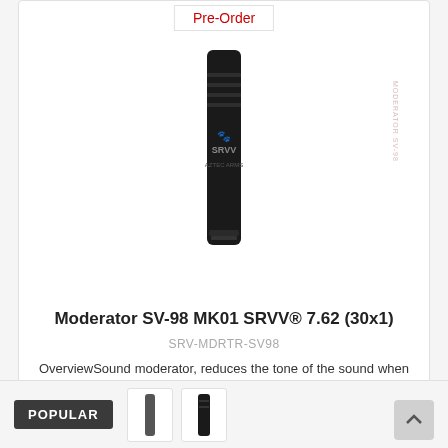[Figure (photo): Product image of Moderator SV-98 MK01 SRVV sound moderator, cylindrical black device with logo, shown against white background. A red 'Pre-Order' badge appears above the product image.]
Moderator SV-98 MK01 SRVV® 7.62 (30x1)
SRV-MDRTR-SV98
OverviewSound moderator, reduces the tone of the sound when fired, leveling out low frequencies, red..
$474.86
POPULAR